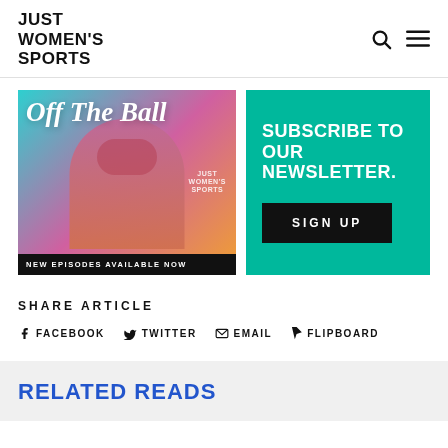JUST WOMEN'S SPORTS
[Figure (illustration): Off The Ball podcast banner with woman in sunglasses on colorful gradient background, text reading 'Off The Ball' and 'NEW EPISODES AVAILABLE NOW']
[Figure (infographic): Teal banner with white text 'SUBSCRIBE TO OUR NEWSLETTER.' and a black 'SIGN UP' button]
SHARE ARTICLE
FACEBOOK
TWITTER
EMAIL
FLIPBOARD
RELATED READS